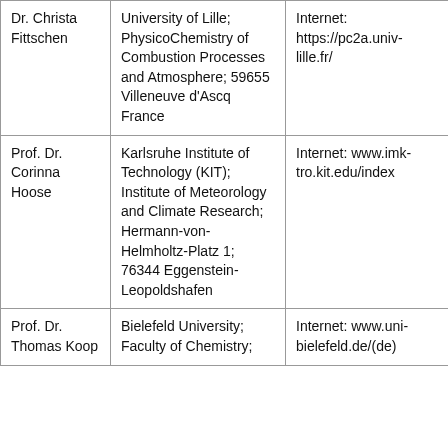| Name | Institution/Address | Contact |
| --- | --- | --- |
| Dr. Christa Fittschen | University of Lille; PhysicoChemistry of Combustion Processes and Atmosphere; 59655 Villeneuve d'Ascq France | Internet: https://pc2a.univ-lille.fr/ |
| Prof. Dr. Corinna Hoose | Karlsruhe Institute of Technology (KIT); Institute of Meteorology and Climate Research; Hermann-von-Helmholtz-Platz 1; 76344 Eggenstein-Leopoldshafen | Internet: www.imk-tro.kit.edu/index |
| Prof. Dr. Thomas Koop | Bielefeld University; Faculty of Chemistry; | Internet: www.uni-bielefeld.de/(de) |